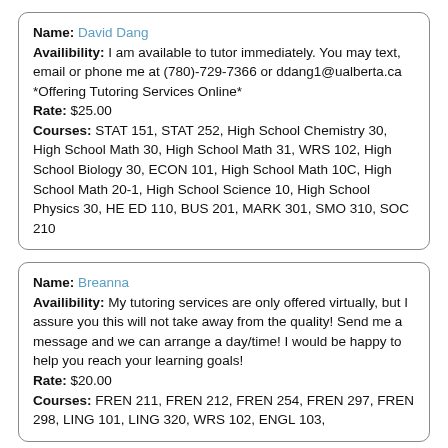Name: David Dang
Availibility: I am available to tutor immediately. You may text, email or phone me at (780)-729-7366 or ddang1@ualberta.ca *Offering Tutoring Services Online*
Rate: $25.00
Courses: STAT 151, STAT 252, High School Chemistry 30, High School Math 30, High School Math 31, WRS 102, High School Biology 30, ECON 101, High School Math 10C, High School Math 20-1, High School Science 10, High School Physics 30, HE ED 110, BUS 201, MARK 301, SMO 310, SOC 210
Name: Breanna
Availibility: My tutoring services are only offered virtually, but I assure you this will not take away from the quality! Send me a message and we can arrange a day/time! I would be happy to help you reach your learning goals!
Rate: $20.00
Courses: FREN 211, FREN 212, FREN 254, FREN 297, FREN 298, LING 101, LING 320, WRS 102, ENGL 103,